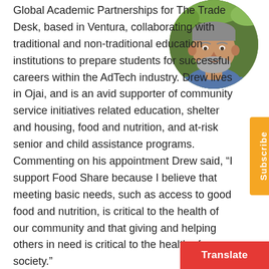[Figure (photo): Circular portrait photo of a middle-aged man with gray beard, wearing a blue patterned shirt, with green foliage in the background]
Global Academic Partnerships for The Trade Desk, based in Ventura, collaborating with traditional and non-traditional education institutions to prepare students for successful careers within the AdTech industry. Drew lives in Ojai, and is an avid supporter of community service initiatives related education, shelter and housing, food and nutrition, and at-risk senior and child assistance programs. Commenting on his appointment Drew said, “I support Food Share because I believe that meeting basic needs, such as access to good food and nutrition, is critical to the health of our community and that giving and helping others in need is critical to the health of our society.”